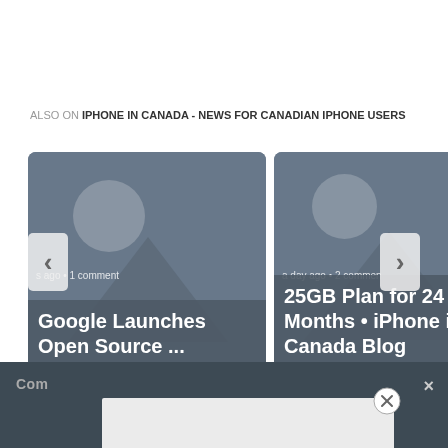ALSO ON IPHONE IN CANADA - NEWS FOR CANADIAN IPHONE USERS
[Figure (screenshot): Two article preview cards side by side. Left card shows 'Google Launches Open Source ...' with metadata 's ago • 1 comment'. Right card shows '25GB Plan for 24 Months • iPhone in Canada Blog' with metadata 'a day ago • 2 comments'. Navigation arrows visible on sides.]
Com
×